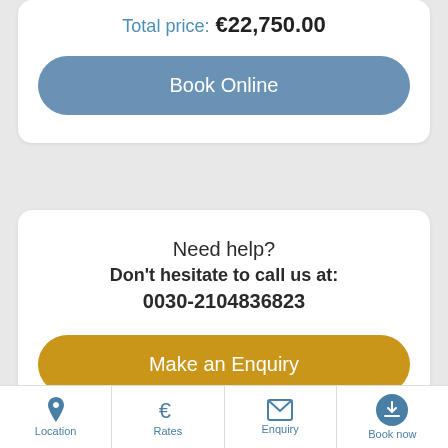Total price: €22,750.00
Book Online
Need help?
Don't hesitate to call us at:
0030-2104836823
Make an Enquiry
Location | Rates | Enquiry | Book now